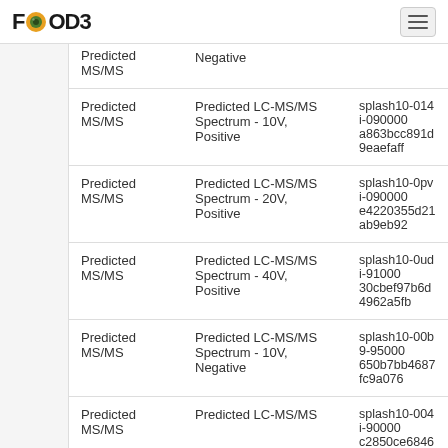FOODB
| Type | Description | Identifier |
| --- | --- | --- |
| Predicted MS/MS | Negative (partial) |  |
| Predicted MS/MS | Predicted LC-MS/MS Spectrum - 10V, Positive | splash10-014i-090000... a863bcc891d9eaefaff... |
| Predicted MS/MS | Predicted LC-MS/MS Spectrum - 20V, Positive | splash10-0pvi-090000... e4220355d21ab9eb92... |
| Predicted MS/MS | Predicted LC-MS/MS Spectrum - 40V, Positive | splash10-0udi-910000... 30cbef97b6d4962a5fb... |
| Predicted MS/MS | Predicted LC-MS/MS Spectrum - 10V, Negative | splash10-00b9-95000... 650b7bb4687fc9a076... |
| Predicted MS/MS | Predicted LC-MS/MS Spectrum (partial) | splash10-004i-90000... c2850ce6846335b037... |